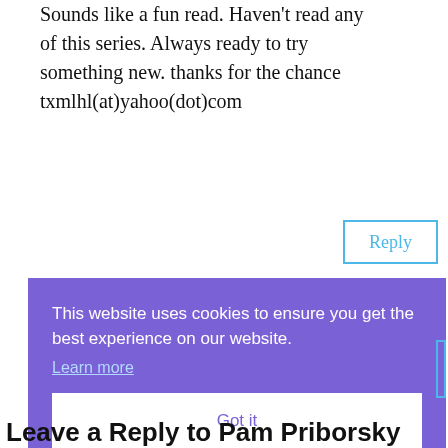Sounds like a fun read. Haven't read any of this series. Always ready to try something new. thanks for the chance txmlhl(at)yahoo(dot)com
Reply
This website uses cookies to ensure you get the best experience on our website.
Learn more
Got it
Leave a Reply to Pam Priborsky